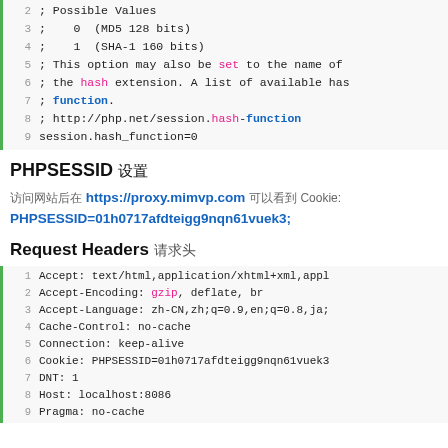[Figure (screenshot): Code block showing PHP session hash function configuration comments and setting, lines 2-9]
PHPSESSID 设置
访问网站后在 https://proxy.mimvp.com 可以看到 Cookie: PHPSESSID=01h0717afdteigg9nqn61vuek3;
Request Headers 请求头
[Figure (screenshot): Code block showing HTTP request headers lines 1-9]